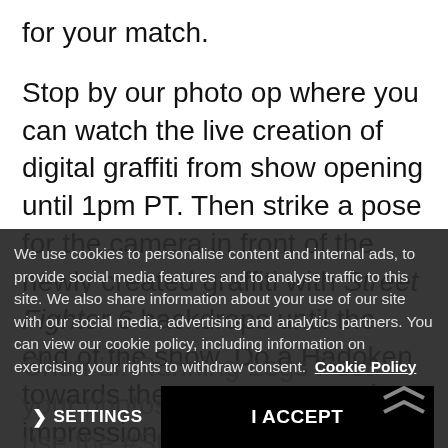for your match.

Stop by our photo op where you can watch the live creation of digital graffiti from show opening until 1pm PT. Then strike a pose for the camera in front of the newly created graffiti with Street Fighter 6 backdrops until the end of the show. Do a Hadoken towards the camera or your best impression of Chun-Li! Running Legs Post your photos @StreetFighter and use the #StreetFighter6
We use cookies to personalise content and internal ads, to provide social media features and to analyse traffic to this site. We also share information about your use of our site with our social media, advertising and analytics partners. You can view our cookie policy, including information on exercising your rights to withdraw consent. Cookie Policy
Since you'll be fighting in Metro City, graffiti artists will be tagging a